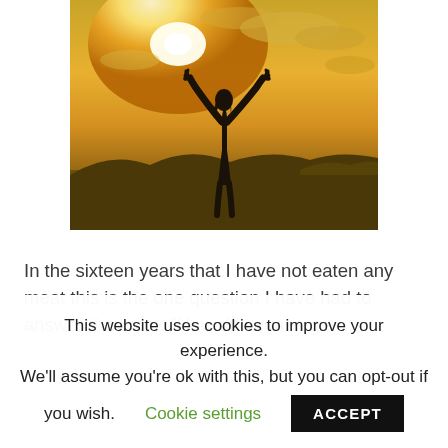[Figure (photo): Silhouette of a person with arms raised against a bright golden sky with clouds, standing on a hillside or elevated terrain.]
In the sixteen years that I have not eaten any meat this is the one question I have had to answer the most. “How do vegans get
This website uses cookies to improve your experience. We'll assume you're ok with this, but you can opt-out if you wish.
Cookie settings
ACCEPT